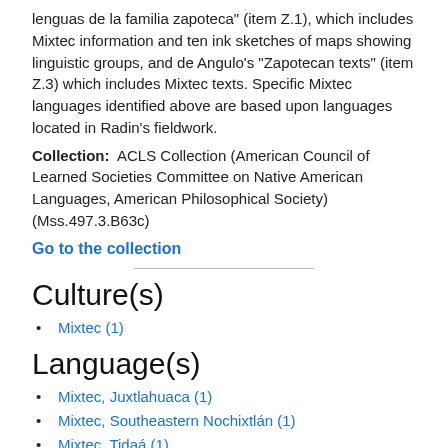lenguas de la familia zapoteca" (item Z.1), which includes Mixtec information and ten ink sketches of maps showing linguistic groups, and de Angulo's "Zapotecan texts" (item Z.3) which includes Mixtec texts. Specific Mixtec languages identified above are based upon languages located in Radin's fieldwork.
Collection: ACLS Collection (American Council of Learned Societies Committee on Native American Languages, American Philosophical Society) (Mss.497.3.B63c)
Go to the collection
Culture(s)
Mixtec (1)
Language(s)
Mixtec, Juxtlahuaca (1)
Mixtec, Southeastern Nochixtlán (1)
Mixtec, Tidaá (1)
Spanish (1)
(-) English (1)